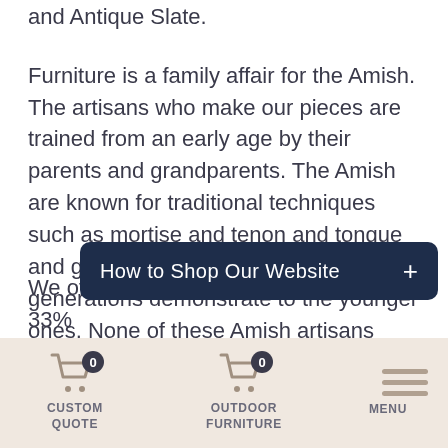and Antique Slate.
Furniture is a family affair for the Amish. The artisans who make our pieces are trained from an early age by their parents and grandparents. The Amish are known for traditional techniques such as mortise and tenon and tongue and groove jointing, which the older generations demonstrate to the younger ones. None of these Amish artisans uses electric tools. All our furniture is created by hand, and its unmatched durability is a testament to th...
How to Shop Our Website
We offer daily price reductions of up to 33%
CUSTOM QUOTE  OUTDOOR FURNITURE  MENU